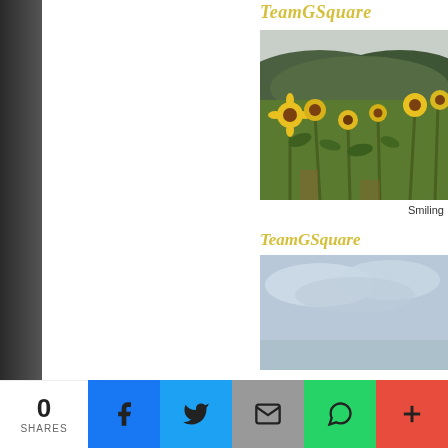[Figure (photo): Left dark sidebar showing edge of a nighttime road/outdoor scene]
[Figure (photo): Watermark text 'TeamGSquare' in yellow italic over sunflower field photograph with mountains in background]
Smiling
[Figure (photo): Second image block with 'TeamGSquare' watermark in yellow italic, showing cloudy sky scene]
0 SHARES
[Figure (infographic): Social share bar with Facebook, Twitter, Email, WhatsApp, and More buttons]